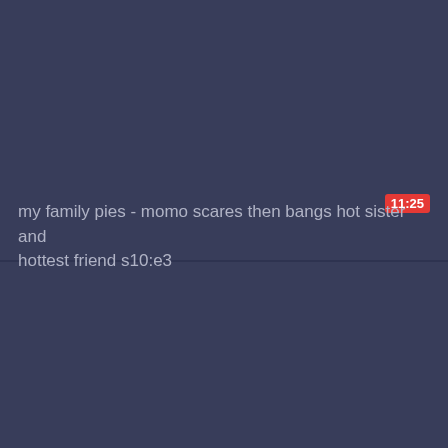[Figure (screenshot): Video thumbnail placeholder - dark navy/slate blue background with no visible image content, top panel]
11:25
my family pies - momo scares then bangs hot sister and hottest friend s10:e3
[Figure (screenshot): Video thumbnail placeholder - dark navy/slate blue background with no visible image content, bottom panel]